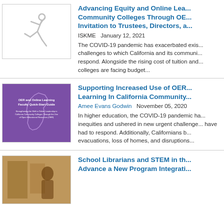Advancing Equity and Online Learning at California Community Colleges Through OER: An Invitation to Trustees, Directors, a...
ISKME   January 12, 2021
The COVID-19 pandemic has exacerbated existing challenges to which California and its community colleges must respond. Alongside the rising cost of tuition and... colleges are facing budget...
[Figure (illustration): Running figure icon / logo in light gray on white background]
Supporting Increased Use of OER and Online Learning In California Community...
Amee Evans Godwin   November 05, 2020
In higher education, the COVID-19 pandemic has exacerbated inequities and ushered in new urgent challenges to which institutions have had to respond. Additionally, Californians have dealt with evacuations, loss of homes, and disruptions...
[Figure (photo): Book cover: OER and Online Learning Faculty Quick-Start Guide - purple cover with California state map outline]
School Librarians and STEM in the... Advance a New Program Integrati...
[Figure (photo): Photo of a person at what appears to be a library or educational setting]